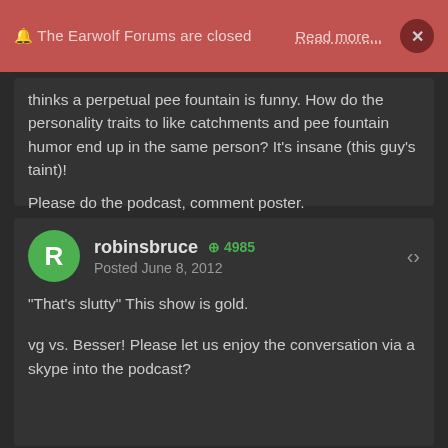🔔 The Earwolf Forums are closed   Read more...   ×
thinks a perpetual pee fountain is funny. How do the personality traits to like catchments and pee fountain humor end up in the same person? It's insane (this guy's taint)!

Please do the podcast, comment poster.
robinsbruce  ⊕ 4985
Posted June 8, 2012

"That's slutty" This show is gold.

vg vs. Besser! Please let us enjoy the conversation via a skype into the podcast?